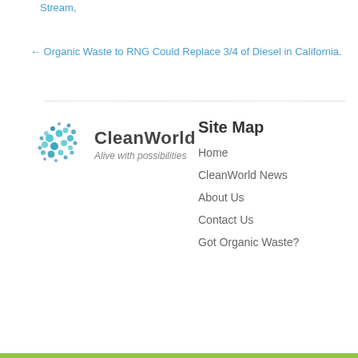Stream,
← Organic Waste to RNG Could Replace 3/4 of Diesel in California.
[Figure (logo): CleanWorld logo with globe made of blue/teal dots and text 'CleanWorld' with tagline 'Alive with possibilities']
Site Map
Home
CleanWorld News
About Us
Contact Us
Got Organic Waste?